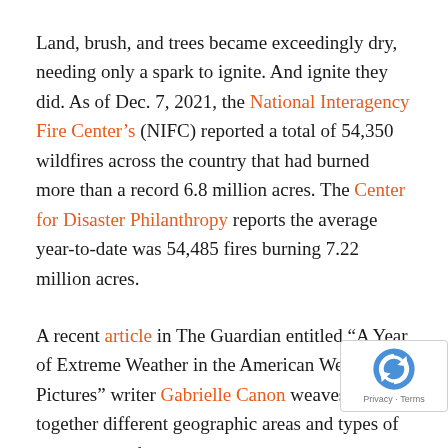Land, brush, and trees became exceedingly dry, needing only a spark to ignite. And ignite they did. As of Dec. 7, 2021, the National Interagency Fire Center's (NIFC) reported a total of 54,350 wildfires across the country that had burned more than a record 6.8 million acres. The Center for Disaster Philanthropy reports the average year-to-date was 54,485 fires burning 7.22 million acres.
A recent article in The Guardian entitled “A Year of Extreme Weather in the American West — in Pictures” writer Gabrielle Canon weaves together different geographic areas and types of extreme weather events.